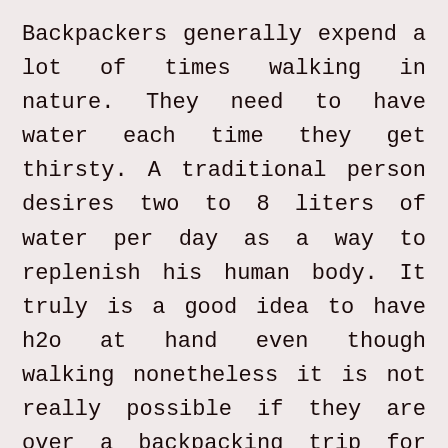Backpackers generally expend a lot of times walking in nature. They need to have water each time they get thirsty. A traditional person desires two to 8 liters of water per day as a way to replenish his human body. It truly is a good idea to have h2o at hand even though walking nonetheless it is not really possible if they are over a backpacking trip for several days. It truly is much too weighty to hold which explains why they carry chemical tablets to sanitize the h2o they see within their ecosystem.
Backpackers are eager in consuming h2o which explains why they have items that can help them sanitize the drinking water. An additional way to guantee that their ingesting drinking water is clear...